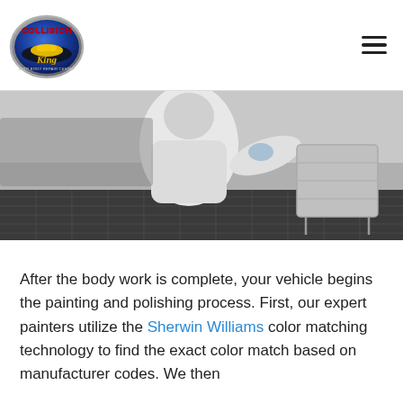[Figure (logo): Collision King Auto Body Repair Center logo — blue oval with red text COLLISION and script King, yellow car silhouette]
[Figure (photo): Auto body technician in white protective suit and gloves working in a paint booth, standing near a metal cart on a black mat floor]
After the body work is complete, your vehicle begins the painting and polishing process. First, our expert painters utilize the Sherwin Williams color matching technology to find the exact color match based on manufacturer codes. We then